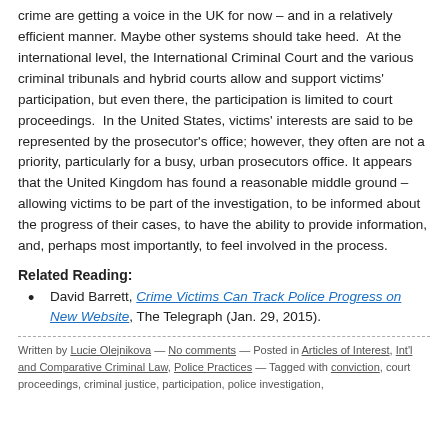crime are getting a voice in the UK for now – and in a relatively efficient manner. Maybe other systems should take heed. At the international level, the International Criminal Court and the various criminal tribunals and hybrid courts allow and support victims' participation, but even there, the participation is limited to court proceedings. In the United States, victims' interests are said to be represented by the prosecutor's office; however, they often are not a priority, particularly for a busy, urban prosecutors office. It appears that the United Kingdom has found a reasonable middle ground – allowing victims to be part of the investigation, to be informed about the progress of their cases, to have the ability to provide information, and, perhaps most importantly, to feel involved in the process.
Related Reading:
David Barrett, Crime Victims Can Track Police Progress on New Website, The Telegraph (Jan. 29, 2015).
Written by Lucie Olejnikova — No comments — Posted in Articles of Interest, Int'l and Comparative Criminal Law, Police Practices — Tagged with conviction, court proceedings, criminal justice, participation, police investigation,